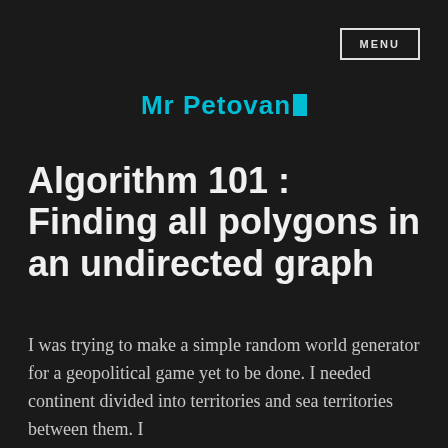MENU
Mr Petovan
Algorithm 101 : Finding all polygons in an undirected graph
I was trying to make a simple random world generator for a geopolitical game yet to be done. I needed continent divided into territories and sea territories between them. I